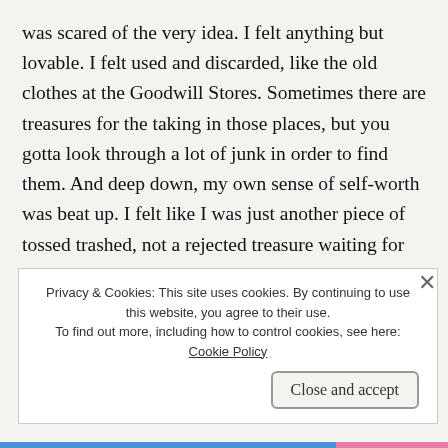was scared of the very idea. I felt anything but lovable. I felt used and discarded, like the old clothes at the Goodwill Stores. Sometimes there are treasures for the taking in those places, but you gotta look through a lot of junk in order to find them. And deep down, my own sense of self-worth was beat up. I felt like I was just another piece of tossed trashed, not a rejected treasure waiting for someone else to realize my true worth.
Privacy & Cookies: This site uses cookies. By continuing to use this website, you agree to their use. To find out more, including how to control cookies, see here: Cookie Policy
Close and accept